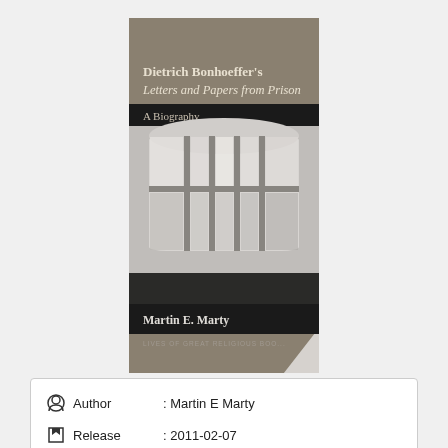[Figure (photo): Book cover of 'Dietrich Bonhoeffer's Letters and Papers from Prison: A Biography' by Martin E. Marty, published in the Lives of Great Religious Books series. The cover has a gray-brown background with the title at the top, a black-and-white photograph of a prison window in the middle, a dark banner reading 'A Biography', and the author's name Martin E. Marty at the bottom.]
| Author | : Martin E Marty |
| Release | : 2011-02-07 |
| Editor | : Princeton University Press |
| Pages | : 296 |